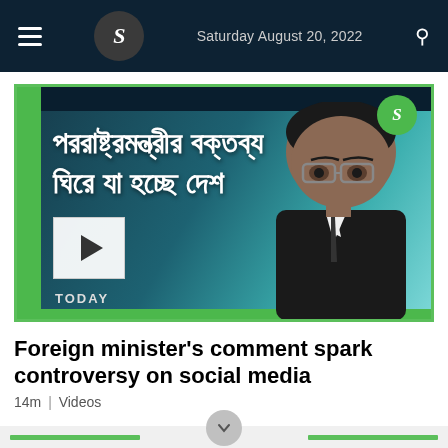Saturday August 20, 2022
[Figure (screenshot): Video thumbnail showing a man in glasses (foreign minister) with Bengali text overlay reading foreign minister's statement controversy, with play button and TODAY watermark, green border frame, teal/dark blue background]
Foreign minister's comment spark controversy on social media
14m | Videos